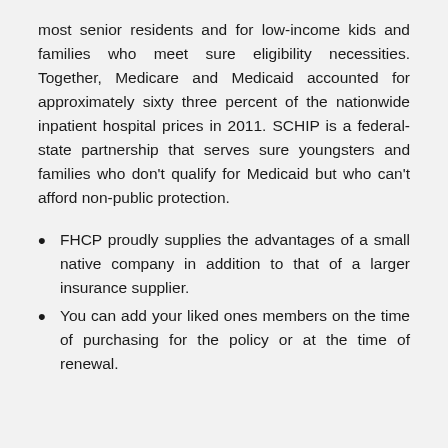most senior residents and for low-income kids and families who meet sure eligibility necessities. Together, Medicare and Medicaid accounted for approximately sixty three percent of the nationwide inpatient hospital prices in 2011. SCHIP is a federal-state partnership that serves sure youngsters and families who don't qualify for Medicaid but who can't afford non-public protection.
FHCP proudly supplies the advantages of a small native company in addition to that of a larger insurance supplier.
You can add your liked ones members on the time of purchasing for the policy or at the time of renewal.